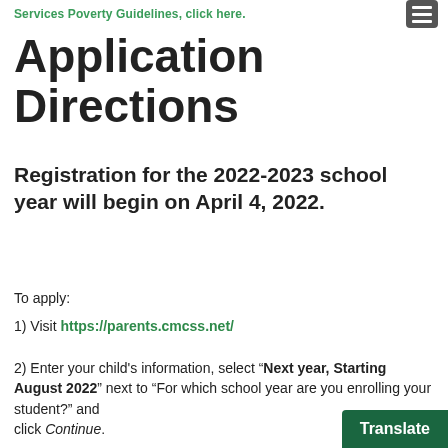Services Poverty Guidelines, click here.
Application Directions
Registration for the 2022-2023 school year will begin on April 4, 2022.
To apply:
1) Visit https://parents.cmcss.net/
2) Enter your child's information, select “Next year, Starting August 2022” next to “For which school year are you enrolling your student?” and click Continue.